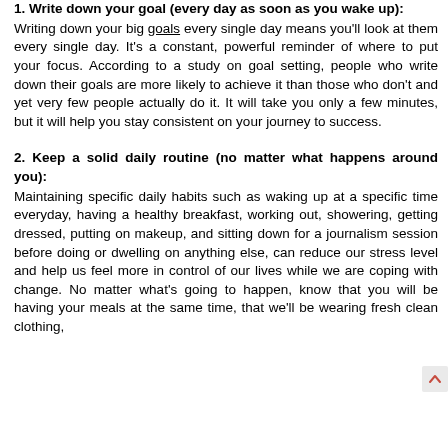1. Write down your goal (every day as soon as you wake up): Writing down your big goals every single day means you'll look at them every single day. It's a constant, powerful reminder of where to put your focus. According to a study on goal setting, people who write down their goals are more likely to achieve it than those who don't and yet very few people actually do it. It will take you only a few minutes, but it will help you stay consistent on your journey to success.
2. Keep a solid daily routine (no matter what happens around you): Maintaining specific daily habits such as waking up at a specific time everyday, having a healthy breakfast, working out, showering, getting dressed, putting on makeup, and sitting down for a journalism session before doing or dwelling on anything else, can reduce our stress level and help us feel more in control of our lives while we are coping with change. No matter what's going to happen, know that you will be having your meals at the same time, that we'll be wearing fresh clean clothing,